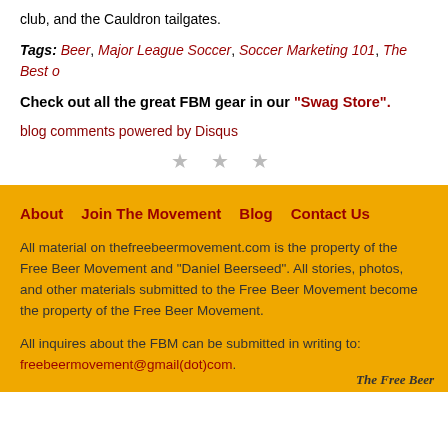club, and the Cauldron tailgates.
Tags: Beer, Major League Soccer, Soccer Marketing 101, The Best o...
Check out all the great FBM gear in our "Swag Store".
blog comments powered by Disqus
★ ★ ★
About   Join The Movement   Blog   Contact Us

All material on thefreebeermovement.com is the property of the Free Beer Movement and "Daniel Beerseed". All stories, photos, and other materials submitted to the Free Beer Movement become the property of the Free Beer Movement.

All inquires about the FBM can be submitted in writing to: freebeermovement@gmail(dot)com.

The Free Beer